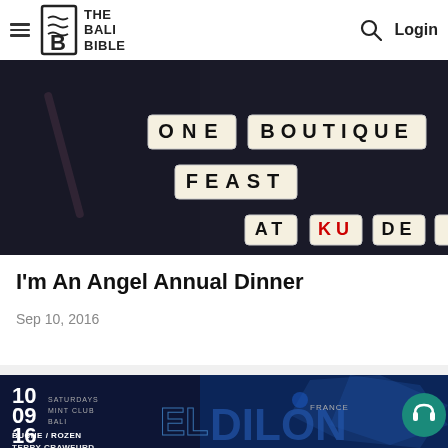THE BALI BIBLE — Login
[Figure (photo): Dark background photo with Scrabble tiles spelling ONE BOUTIQUE FEAST AT KU DE TA]
I'm An Angel Annual Dinner
Sep 10, 2016
[Figure (photo): Dark blue event poster for El Dilon event on 10/09/16, Saturdays Mint Club Bali, featuring Buche/Rozen and Terry Crawford, with geometric wolf graphic and France branding. Teal headphone circle button visible.]